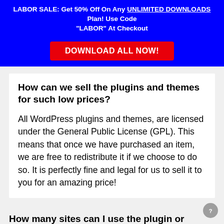LABOR SALE: Get 50% Off On Any UNLIMITED DOWNLOADS Plan! Use Code "LABOR" At Checkout
DOWNLOAD ALL NOW!
How can we sell the plugins and themes for such low prices?
All WordPress plugins and themes, are licensed under the General Public License (GPL). This means that once we have purchased an item, we are free to redistribute it if we choose to do so. It is perfectly fine and legal for us to sell it to you for an amazing price!
How many sites can I use the plugin or